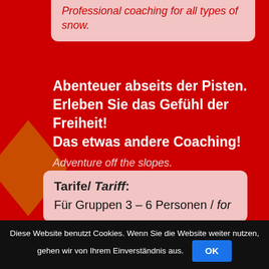Professional coaching for all types of snow.
Abenteuer abseits der Pisten. Erleben Sie das Gefühl der Freiheit! Das etwas andere Coaching! Adventure off the slopes. Experience the feeling of freedom. The slightly different coaching.
Tarife/ Tariff: Für Gruppen 3 – 6 Personen / for
Diese Website benutzt Cookies. Wenn Sie die Website weiter nutzen, gehen wir von Ihrem Einverständnis aus. OK